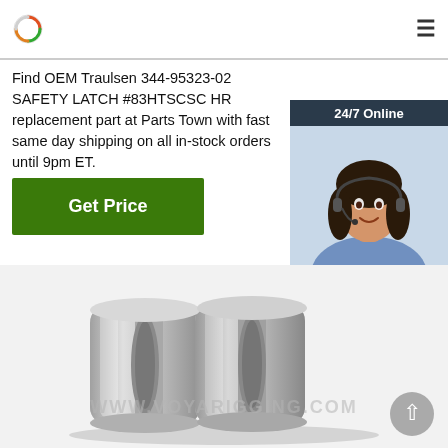[Figure (logo): Circular logo with orange/red/green arc design]
Find OEM Traulsen 344-95323-02 SAFETY LATCH #83HTSCSC HR replacement part at Parts Town with fast same day shipping on all in-stock orders until 9pm ET.
Get Price
[Figure (infographic): 24/7 Online chat widget with a woman wearing a headset. Includes 'Click here for free chat!' text and an orange QUOTATION button.]
[Figure (photo): Photo of a silver metal safety latch part (Traulsen 344-95323-02) with watermark www.voyarigging.com]